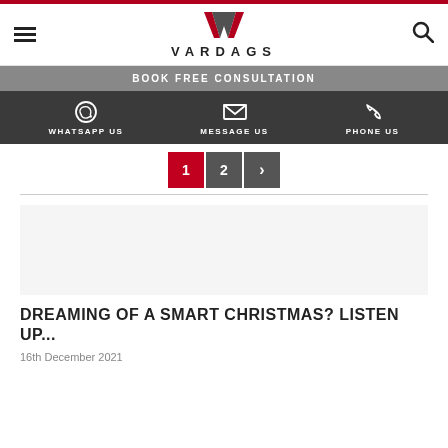VARDAGS
BOOK FREE CONSULTATION
WHATSAPP US | MESSAGE US | PHONE US
1 2 >
DREAMING OF A SMART CHRISTMAS? LISTEN UP...
16th December 2021